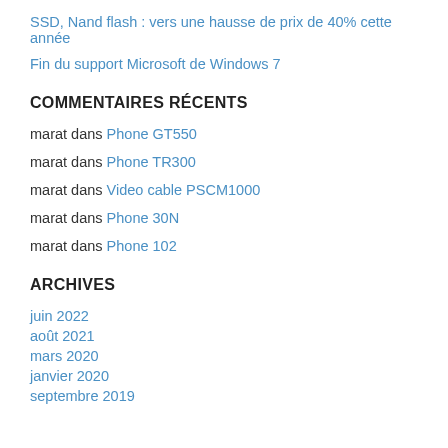SSD, Nand flash : vers une hausse de prix de 40% cette année
Fin du support Microsoft de Windows 7
COMMENTAIRES RÉCENTS
marat dans Phone GT550
marat dans Phone TR300
marat dans Video cable PSCM1000
marat dans Phone 30N
marat dans Phone 102
ARCHIVES
juin 2022
août 2021
mars 2020
janvier 2020
septembre 2019